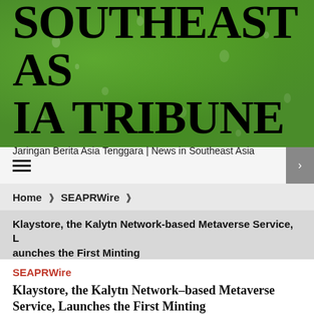SOUTHEAST ASIA TRIBUNE
Jaringan Berita Asia Tenggara | News in Southeast Asia
[Figure (other): Navigation hamburger menu bar and icon button]
Home ❯ SEAPRWire ❯
Klaystore, the Kalytn Network-based Metaverse Service, Launches the First Minting
SEAPRWire
Klaystore, the Kalytn Network-based Metaverse Service, Launches the First Minting